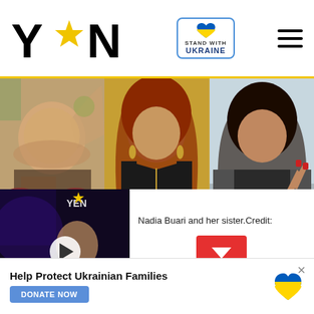[Figure (logo): YEN logo with star replacing letter A, black bold text]
[Figure (logo): Stand With Ukraine badge with heart icon in Ukrainian flag colors]
[Figure (photo): Photo gallery showing Nadia Buari and her sister in three panels side by side]
[Figure (screenshot): YEN video thumbnail with play button overlay]
Nadia Buari and her sister.Credit:
...our competition is. So...
[Figure (infographic): Help Protect Ukrainian Families advertisement banner with DONATE NOW button and Ukrainian flag heart icon]